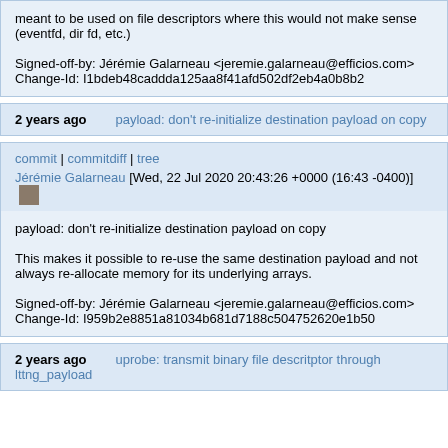meant to be used on file descriptors where this would not make sense (eventfd, dir fd, etc.)

Signed-off-by: Jérémie Galarneau <jeremie.galarneau@efficios.com>
Change-Id: I1bdeb48caddda125aa8f41afd502df2eb4a0b8b2
2 years ago
payload: don't re-initialize destination payload on copy
commit | commitdiff | tree
Jérémie Galarneau [Wed, 22 Jul 2020 20:43:26 +0000 (16:43 -0400)]
payload: don't re-initialize destination payload on copy

This makes it possible to re-use the same destination payload and not always re-allocate memory for its underlying arrays.

Signed-off-by: Jérémie Galarneau <jeremie.galarneau@efficios.com>
Change-Id: I959b2e8851a81034b681d7188c504752620e1b50
2 years ago
uprobe: transmit binary file descritptor through lttng_payload